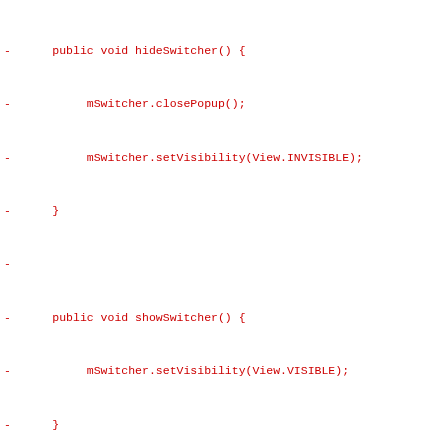[Figure (screenshot): A code diff view showing Java source code with red lines (removed) and green lines (added), plus black unchanged lines and blue hunk headers.]